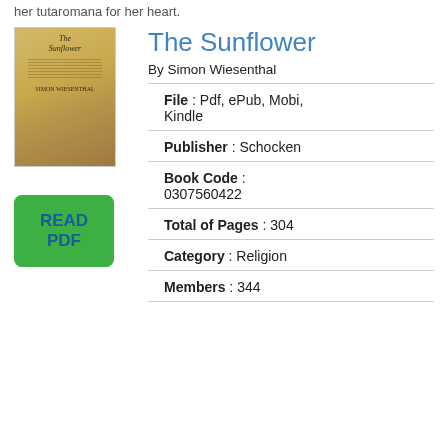her tutaromana for her heart.
[Figure (illustration): Book cover thumbnail for The Sunflower by Simon Wiesenthal with golden/brown tones]
The Sunflower
By Simon Wiesenthal
[Figure (other): Green READ PDF button]
File : Pdf, ePub, Mobi, Kindle
Publisher : Schocken
Book Code : 0307560422
Total of Pages : 304
Category : Religion
Members : 344